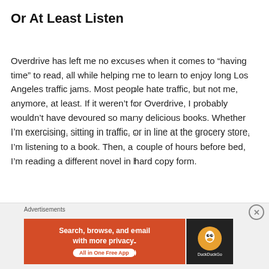Or At Least Listen
Overdrive has left me no excuses when it comes to “having time” to read, all while helping me to learn to enjoy long Los Angeles traffic jams. Most people hate traffic, but not me, anymore, at least. If it weren’t for Overdrive, I probably wouldn’t have devoured so many delicious books. Whether I’m exercising, sitting in traffic, or in line at the grocery store, I’m listening to a book. Then, a couple of hours before bed, I’m reading a different novel in hard copy form.
Is Listening To Audiobooks The Same As
[Figure (screenshot): Advertisement banner for DuckDuckGo: orange/red background with text 'Search, browse, and email with more privacy. All in One Free App' and DuckDuckGo logo on dark background. Labeled 'Advertisements' above and has a close (X) button.]